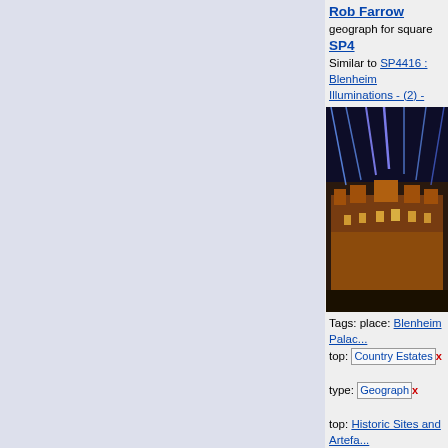[Figure (photo): Night photo of Blenheim Palace illuminated with blue light beams projected from the roof]
Rob Farrow
geograph for square SP4...
Similar to SP4416 : Blenheim Illuminations - (2) - Palace frontage (2) but with a different pattern of lights from the roof.... (more)
Tags: place: Blenheim Palace
top: Country Estates x
type: Geograph x
top: Historic Sites and Artefacts
Illuminations x
Blenheim Illuminations (2) - Palace frontage (2)
Rob Farrow
geograph for square SP4...
The lights projected on the north facade have changed to a more golden hue... (more)
Tags: place: Blenheim Palace
top: Country Estates x
type: Geograph x
top: Historic Sites and Artefacts
[Figure (photo): Night photo of Blenheim Palace illuminated with golden and orange light, with blue light beams]